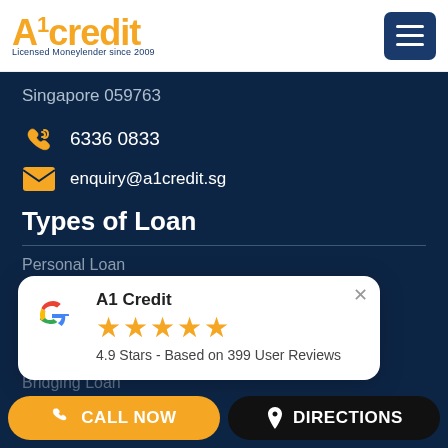[Figure (logo): A1 Credit logo with orange A1 and dark blue 'credit' text, tagline 'Licensed Moneylender since 2009']
[Figure (screenshot): Hamburger menu icon (three horizontal lines) on dark blue background]
Singapore 059763
6336 0833
enquiry@a1credit.sg
Types of Loan
Personal Loan
[Figure (infographic): Google review popup showing A1 Credit with 5 stars, 4.9 Stars - Based on 399 User Reviews]
Bridging Loan
CALL NOW
DIRECTIONS